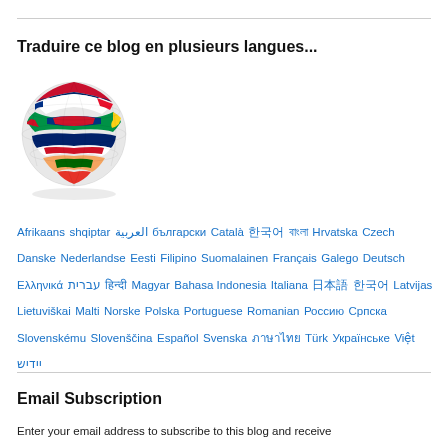Traduire ce blog en plusieurs langues...
[Figure (illustration): A globe made of international country flags arranged in a spherical shape]
Afrikaans shqiptar العربية български Català 한국어 বাংলা Hrvatska Czech Danske Nederlandse Eesti Filipino Suomalainen Français Galego Deutsch Ελληνικά עברית हिन्दी Magyar Bahasa Indonesia Italiana 日本語 한국어 Latvijas Lietuviškai Malti Norske Polska Portuguese Romanian Россию Српска Slovenskému Slovenščina Español Svenska ภาษาไทย Türk Українське Việt יידיש
Email Subscription
Enter your email address to subscribe to this blog and receive